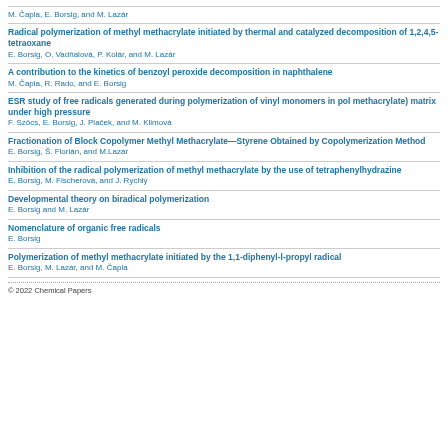M. Čapla, E. Borsig, and M. Lazár
Radical polymerization of methyl methacrylate initiated by thermal and catalyzed decomposition of 1,2,4,5-tetraoxane
E. Borsig, O. Vadňalová, P. Kolár, and M. Lazár
A contribution to the kinetics of benzoyl peroxide decomposition in naphthalene
M. Čapla, R. Rado, and E. Borsig
ESR study of free radicals generated during polymerization of vinyl monomers in pol methacrylate) matrix under high pressure
F. Szöcs, E. Borsig, J. Plaček, and M. Klimová
Fractionation of Block Copolymer Methyl Methacrylate—Styrene Obtained by Copolymerization Method
E. Borsig, Š. Florián, and M.Lazár
Inhibition of the radical polymerization of methyl methacrylate by the use of tetraphenylhydrazine
E. Borsig, M. Fischerová, and J. Rychlý
Developmental theory on biradical polymerization
E. Borsig and M. Lazár
Nomenclature of organic free radicals
E. Borsig
Polymerization of methyl methacrylate initiated by the 1,1-diphenyl-l-propyl radical
E. Borsig, M. Lazár, and M. Čapla
© 2022 Chemical Papers